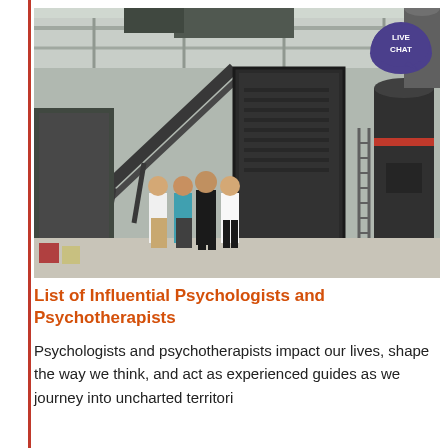[Figure (photo): Industrial facility interior showing large dark grey metal processing machinery, conveyor systems, and ductwork. Four people stand in the foreground posing for the photo. A 'LIVE CHAT' badge appears in the top right corner of the image.]
List of Influential Psychologists and Psychotherapists
Psychologists and psychotherapists impact our lives, shape the way we think, and act as experienced guides as we journey into uncharted territori